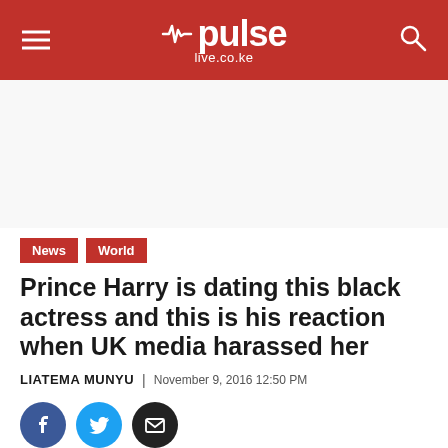pulse live.co.ke
[Figure (other): Advertisement / blank white area]
News   World
Prince Harry is dating this black actress and this is his reaction when UK media harassed her
LIATEMA MUNYU | November 9, 2016 12:50 PM
[Figure (other): Social share icons: Facebook, Twitter, Email]